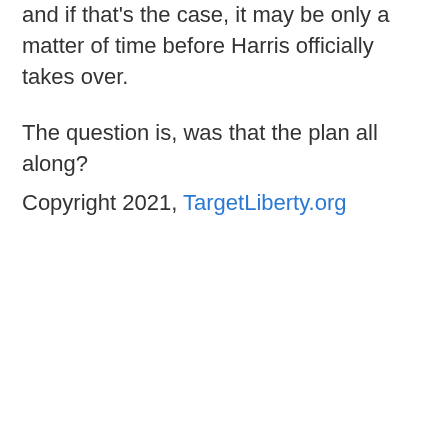and if that's the case, it may be only a matter of time before Harris officially takes over.
The question is, was that the plan all along?
Copyright 2021, TargetLiberty.org